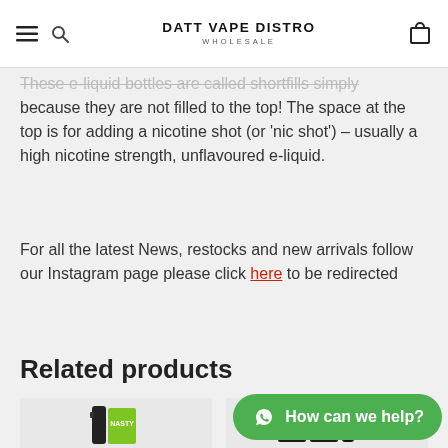DATT VAPE DISTRO WHOLESALE
These e-liquid bottles are called shortfills simply because they are not filled to the top! The space at the top is for adding a nicotine shot (or 'nic shot') – usually a high nicotine strength, unflavoured e-liquid.
For all the latest News, restocks and new arrivals follow our Instagram page please click here to be redirected
Related products
[Figure (photo): Product card showing a Nasty e-liquid bottle with green packaging]
[Figure (photo): Product card showing dark vape product boxes with pink/purple labels]